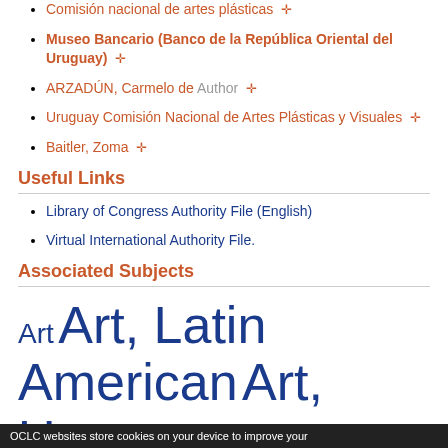Comisión nacional de artes plásticas ✛
Museo Bancario (Banco de la República Oriental del Uruguay) ✛
ARZADÚN, Carmelo de  Author ✛
Uruguay Comisión Nacional de Artes Plásticas y Visuales ✛
Baitler, Zoma ✛
Useful Links
Library of Congress Authority File (English)
Virtual International Authority File.
Associated Subjects
Art  Art, Latin American  Art, Uruguayan  Baitler, Zoma  Constructivism (Art)  Figari, Pedro,  Gauchos
OCLC websites store cookies on your device to improve your